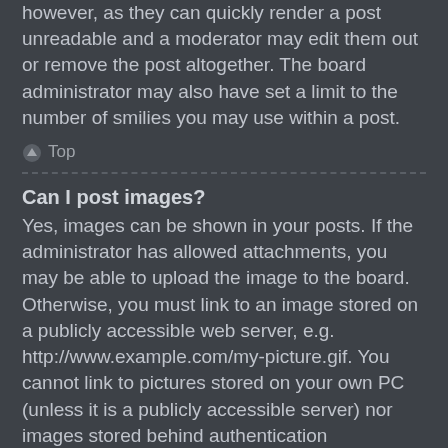however, as they can quickly render a post unreadable and a moderator may edit them out or remove the post altogether. The board administrator may also have set a limit to the number of smilies you may use within a post.
Top
Can I post images?
Yes, images can be shown in your posts. If the administrator has allowed attachments, you may be able to upload the image to the board. Otherwise, you must link to an image stored on a publicly accessible web server, e.g. http://www.example.com/my-picture.gif. You cannot link to pictures stored on your own PC (unless it is a publicly accessible server) nor images stored behind authentication mechanisms, e.g. hotmail or yahoo mailboxes, password protected sites, etc. To display the image use the BBCode [img] tag.
Top